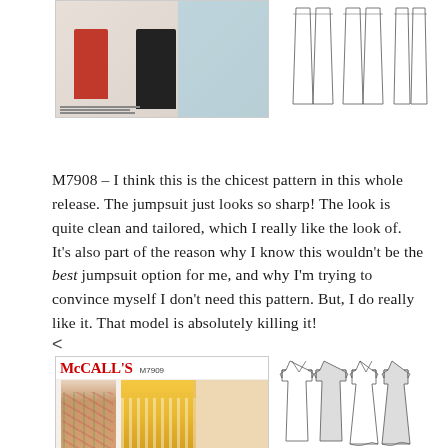[Figure (photo): McCall's M7908 pattern envelope photo showing models in jumpsuits — one in red wide-leg trousers and one in black cropped trousers with heels]
[Figure (schematic): Sewing pattern schematic line drawings for M7908 showing front and back views of trouser pieces]
M7908 – I think this is the chicest pattern in this whole release. The jumpsuit just looks so sharp! The look is quite clean and tailored, which I really like the look of. It's also part of the reason why I know this wouldn't be the best jumpsuit option for me, and why I'm trying to convince myself I don't need this pattern. But, I do really like it. That model is absolutely killing it!
<
[Figure (photo): McCall's M7909 pattern envelope showing two women models in floral and striped wrap dresses/rompers]
[Figure (schematic): Sewing pattern schematic line drawings for M7909 showing front and back views of dress/jumpsuit pieces with cap sleeves]